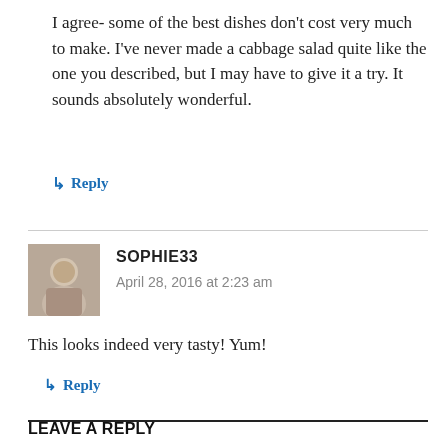I agree- some of the best dishes don't cost very much to make. I've never made a cabbage salad quite like the one you described, but I may have to give it a try. It sounds absolutely wonderful.
↳ Reply
SOPHIE33
April 28, 2016 at 2:23 am
This looks indeed very tasty! Yum!
↳ Reply
LEAVE A REPLY
Your email address will not be published.